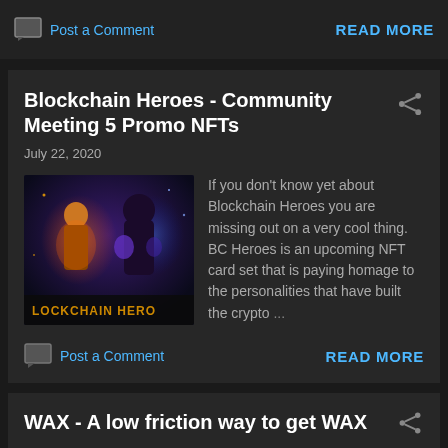Post a Comment   READ MORE
Blockchain Heroes - Community Meeting 5 Promo NFTs
July 22, 2020
[Figure (illustration): Blockchain Heroes game art showing fantasy characters with glowing effects and text 'LOCKCHAIN HERO' at bottom]
If you don't know yet about Blockchain Heroes you are missing out on a very cool thing.  BC Heroes is an upcoming NFT card set that is paying homage to the personalities that have built the crypto ...
Post a Comment   READ MORE
WAX - A low friction way to get WAX